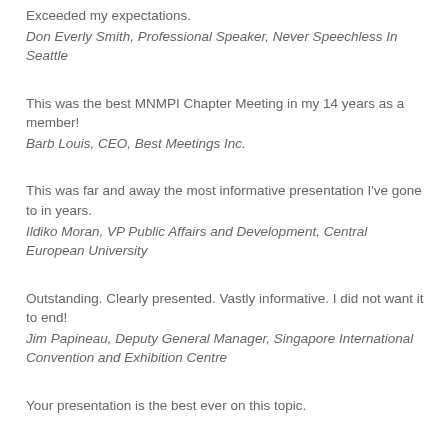Exceeded my expectations.
Don Everly Smith, Professional Speaker, Never Speechless In Seattle
This was the best MNMPI Chapter Meeting in my 14 years as a member!
Barb Louis, CEO, Best Meetings Inc.
This was far and away the most informative presentation I've gone to in years.
Ildiko Moran, VP Public Affairs and Development, Central European University
Outstanding. Clearly presented. Vastly informative. I did not want it to end!
Jim Papineau, Deputy General Manager, Singapore International Convention and Exhibition Centre
Your presentation is the best ever on this topic.